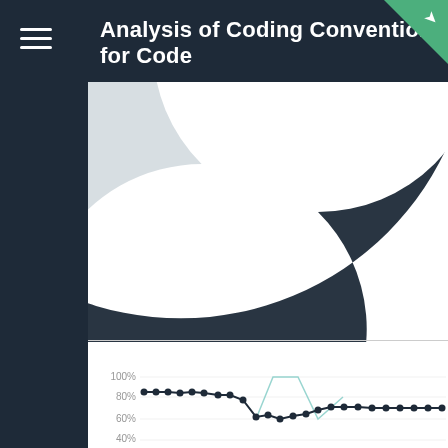Analysis of Coding Conventions for Code
[Figure (donut-chart): Partial donut chart with dark navy blue as the dominant segment and a small light gray/white segment at top-left, shown cropped]
HISTORICAL
[Figure (line-chart): Historical line chart showing percentage values over time. Y-axis shows 100%, 80%, 60%, 40%. A dark navy line with dots starts around 87%, stays mostly level, then drops around 70-72%, recovers to ~77% and continues. A light blue/teal line forms a triangle shape peaking and dipping in the middle portion of the chart.]